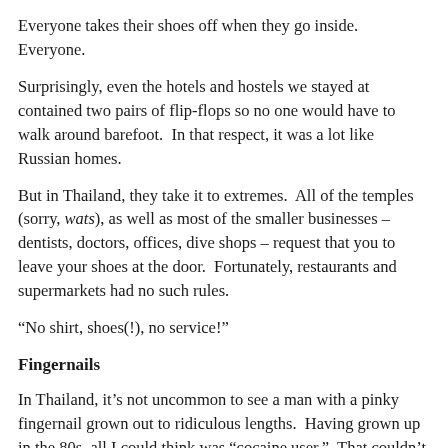Everyone takes their shoes off when they go inside.  Everyone.
Surprisingly, even the hotels and hostels we stayed at contained two pairs of flip-flops so no one would have to walk around barefoot.  In that respect, it was a lot like Russian homes.
But in Thailand, they take it to extremes.  All of the temples (sorry, wats), as well as most of the smaller businesses – dentists, doctors, offices, dive shops – request that you to leave your shoes at the door.  Fortunately, restaurants and supermarkets had no such rules.
“No shirt, shoes(!), no service!”
Fingernails
In Thailand, it’s not uncommon to see a man with a pinky fingernail grown out to ridiculous lengths.  Having grown up in the 80s, all I could think was “cocaine user.”  That couldn’t be it, though.
Turns out, it’s most likely a symbol of social status.  People who have to do hard, physical labor for a living are not able to grow their fingernails out.  If, on the other hand, you have a nice white collar job (or whatever the equivalent is over there), then I guess a well-manicured pinky nail is something you can devote your time